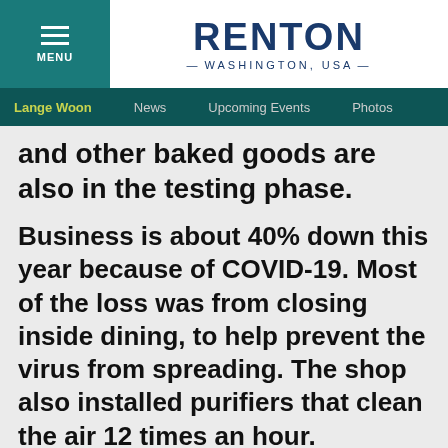RENTON — WASHINGTON, USA —
Lange Woon | News | Upcoming Events | Photos
and other baked goods are also in the testing phase.
Business is about 40% down this year because of COVID-19. Most of the loss was from closing inside dining, to help prevent the virus from spreading. The shop also installed purifiers that clean the air 12 times an hour.
“We’re thankful for our customers,” Lange said. “We ask them to stay safe and hang in there.”